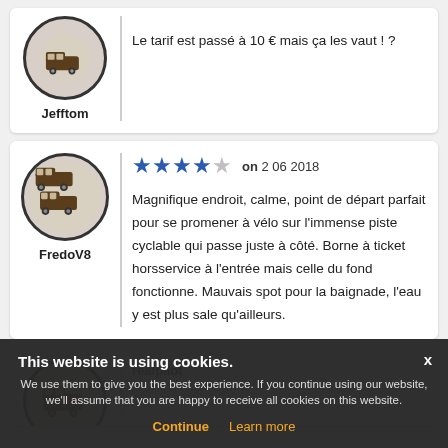Le tarif est passé à 10 € mais ça les vaut ! ?
Jefftom
★★★★☆ on 2 06 2018
Magnifique endroit, calme, point de départ parfait pour se promener à vélo sur l'immense piste cyclable qui passe juste à côté. Borne à ticket horsservice à l'entrée mais celle du fond fonctionne. Mauvais spot pour la baignade, l'eau y est plus sale qu'ailleurs.
FredoV8
realpilot
This website is using cookies. We use them to give you the best experience. If you continue using our website, we'll assume that you are happy to receive all cookies on this website. Continue Learn more